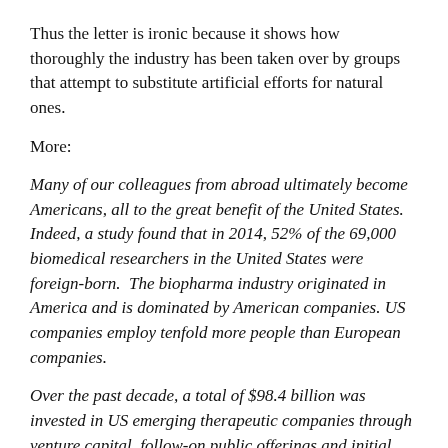Thus the letter is ironic because it shows how thoroughly the industry has been taken over by groups that attempt to substitute artificial efforts for natural ones.
More:
Many of our colleagues from abroad ultimately become Americans, all to the great benefit of the United States. Indeed, a study found that in 2014, 52% of the 69,000 biomedical researchers in the United States were foreign-born.  The biopharma industry originated in America and is dominated by American companies. US companies employ tenfold more people than European companies.
Over the past decade, a total of $98.4 billion was invested in US emerging therapeutic companies through venture capital, follow-on public offerings and initial public offerings. US companies spent over $138 billion on upfront payments for in-licensing assets or acquiring global R&D-stage emerging companies.